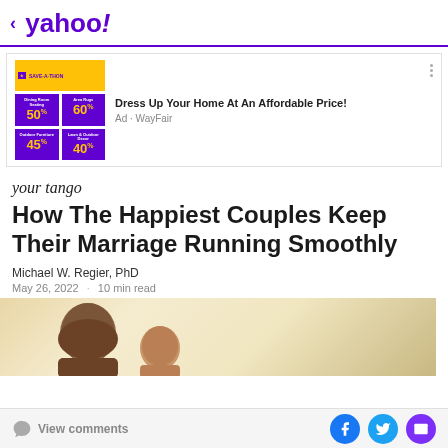< yahoo!
[Figure (infographic): WayFair SAVE-A-THON advertisement showing discount tiles: 50%, 60%, 45%, 40% off. Headline: Dress Up Your Home At An Affordable Price! Ad · WayFair]
[Figure (logo): YourTango cursive logo]
How The Happiest Couples Keep Their Marriage Running Smoothly
Michael W. Regier, PhD
May 26, 2022 · 10 min read
[Figure (photo): Warm-toned photo showing the backs of two people's heads, appearing to be a couple, against a light golden background.]
View comments